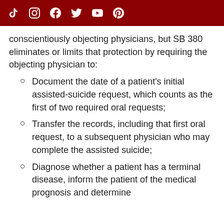[Social media icons: TikTok, Instagram, Facebook, Twitter, YouTube, Pinterest]
conscientiously objecting physicians, but SB 380 eliminates or limits that protection by requiring the objecting physician to:
Document the date of a patient's initial assisted-suicide request, which counts as the first of two required oral requests;
Transfer the records, including that first oral request, to a subsequent physician who may complete the assisted suicide;
Diagnose whether a patient has a terminal disease, inform the patient of the medical prognosis and determine